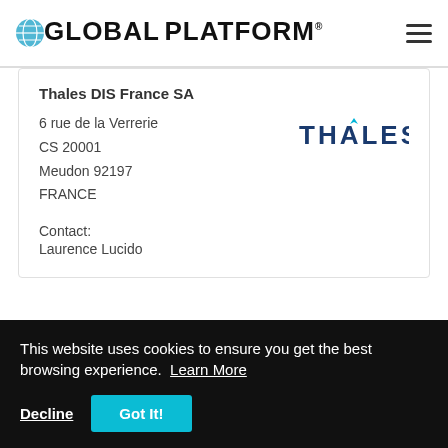GlobalPlatform
Thales DIS France SA
6 rue de la Verrerie
CS 20001
Meudon 92197
FRANCE
[Figure (logo): THALES logo in blue text]
Contact:
Laurence Lucido
Qualified Against:
GP_OC_0591
This website uses cookies to ensure you get the best browsing experience. Learn More
Decline
Got It!